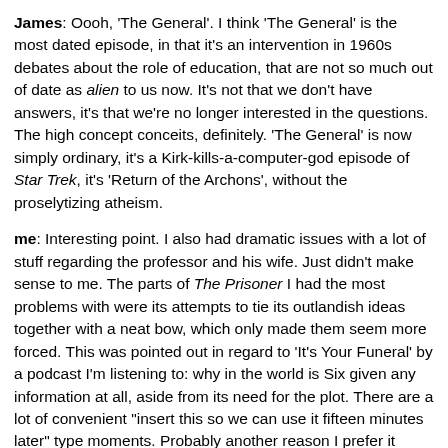James: Oooh, 'The General'. I think 'The General' is the most dated episode, in that it's an intervention in 1960s debates about the role of education, that are not so much out of date as alien to us now. It's not that we don't have answers, it's that we're no longer interested in the questions. The high concept conceits, definitely. 'The General' is now simply ordinary, it's a Kirk-kills-a-computer-god episode of Star Trek, it's 'Return of the Archons', without the proselytizing atheism.
me: Interesting point. I also had dramatic issues with a lot of stuff regarding the professor and his wife. Just didn't make sense to me. The parts of The Prisoner I had the most problems with were its attempts to tie its outlandish ideas together with a neat bow, which only made them seem more forced. This was pointed out in regard to 'It's Your Funeral' by a podcast I'm listening to: why in the world is Six given any information at all, aside from its need for the plot. There are a lot of convenient "insert this so we can use it fifteen minutes later" type moments. Probably another reason I prefer it when The Prisoner abandons reality altogether. I don't really feel logic is its strong suit.